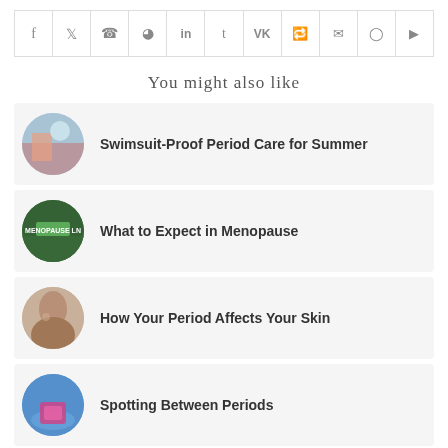[Figure (other): Social media sharing icons bar: Facebook, Twitter, WhatsApp, Pinterest, LinkedIn, Tumblr, VK, Reddit, Email, Instagram, YouTube]
You might also like
Swimsuit-Proof Period Care for Summer
What to Expect in Menopause
How Your Period Affects Your Skin
Spotting Between Periods